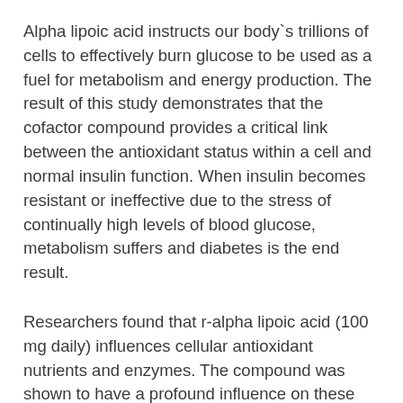Alpha lipoic acid instructs our body`s trillions of cells to effectively burn glucose to be used as a fuel for metabolism and energy production. The result of this study demonstrates that the cofactor compound provides a critical link between the antioxidant status within a cell and normal insulin function. When insulin becomes resistant or ineffective due to the stress of continually high levels of blood glucose, metabolism suffers and diabetes is the end result.
Researchers found that r-alpha lipoic acid (100 mg daily) influences cellular antioxidant nutrients and enzymes. The compound was shown to have a profound influence on these critical protective structures so a perfectly efficient balance was restored that allowed them to perform optimally. As a result, proper gene signaling was restored and insulin and glucose metabolism improved. The study